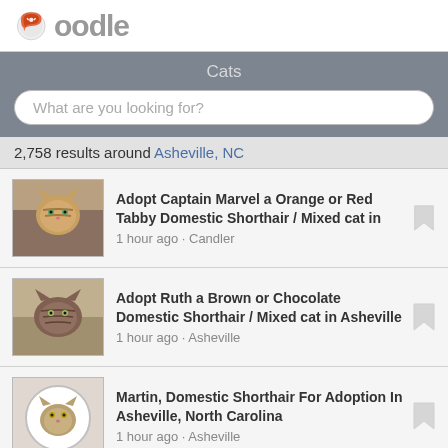oodle
Cats
What are you looking for?
2,758 results around Asheville, NC
Adopt Captain Marvel a Orange or Red Tabby Domestic Shorthair / Mixed cat in
1 hour ago · Candler
Adopt Ruth a Brown or Chocolate Domestic Shorthair / Mixed cat in Asheville
1 hour ago · Asheville
Martin, Domestic Shorthair For Adoption In Asheville, North Carolina
1 hour ago · Asheville
Adopt Mable a All Black Domestic Shorthair / Mixed cat in Asheville